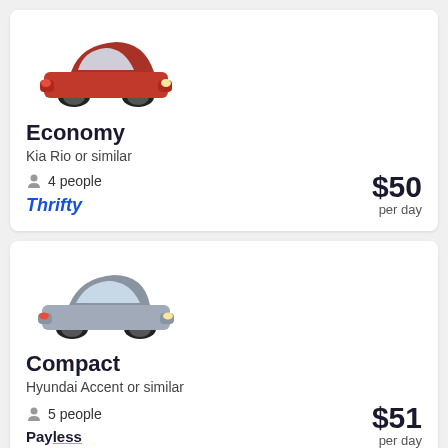[Figure (photo): Red Kia Rio sedan car image for Economy rental listing]
Economy
Kia Rio or similar
4 people
[Figure (logo): Thrifty car rental logo in blue italic text]
$50 per day
[Figure (photo): Silver/grey Hyundai Accent sedan car image for Compact rental listing]
Compact
Hyundai Accent or similar
5 people
[Figure (logo): Payless car rental logo in bold text with orange underline]
$51 per day
See more car deals
Alamo Car Rentals in Fiskdale